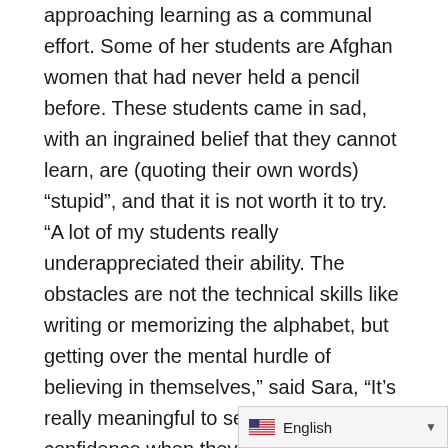approaching learning as a communal effort. Some of her students are Afghan women that had never held a pencil before. These students came in sad, with an ingrained belief that they cannot learn, are (quoting their own words) “stupid”, and that it is not worth it to try. “A lot of my students really underappreciated their ability. The obstacles are not the technical skills like writing or memorizing the alphabet, but getting over the mental hurdle of believing in themselves,” said Sara, “It’s really meaningful to see them gain confidence when they realize and say ‘I can do this, I am learning, and I am growing.’” When the students are smiling and laughing, the classroom is filled with positive, empowering energy. This creates a joint learning experience that is crucial to instilling confidence in the students. When students are building off each other’s experience and